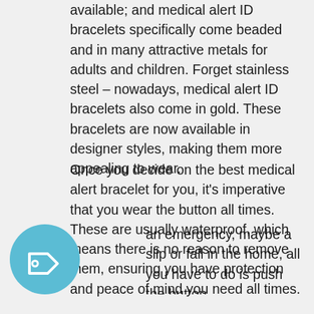available; and medical alert ID bracelets specifically come beaded and in many attractive metals for adults and children. Forget stainless steel – nowadays, medical alert ID bracelets also come in gold. These bracelets are now available in designer styles, making them more appealing to wear.
Once you decide on the best medical alert bracelet for you, it's imperative that you wear the button all times. These are usually waterproof, which means there is no reason to remove them, ensuring you have protection and peace of mind you need all times.
[Figure (illustration): A teal/blue circular icon containing a price tag or label symbol in white outline]
an emergency, maybe a slip or fall in the home, all you have to do is push the button